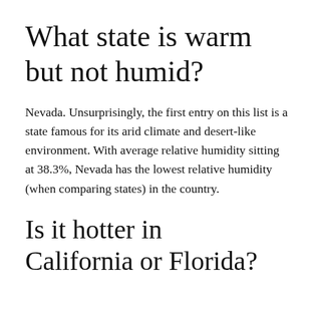What state is warm but not humid?
Nevada. Unsurprisingly, the first entry on this list is a state famous for its arid climate and desert-like environment. With average relative humidity sitting at 38.3%, Nevada has the lowest relative humidity (when comparing states) in the country.
Is it hotter in California or Florida?